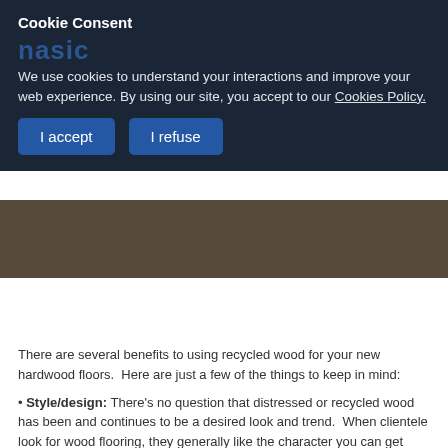Cookie Consent
We use cookies to understand your interactions and improve your web experience. By using our site, you accept to our Cookies Policy.
I accept
I refuse
There are several benefits to using recycled wood for your new hardwood floors.  Here are just a few of the things to keep in mind:
• Style/design: There's no question that distressed or recycled wood has been and continues to be a desired look and trend.  When clientele look for wood flooring, they generally like the character you can get from recycled wood.
• Environmentally friendly: By using recycled wood, you certainly reduce waste that would be going into landfills. Additionally, you eliminate the need to cut down existing trees for milling into new flooring.
• Durability: Trees harvested years ago tend to have tighter grain, which leaves them harder and denser. As such, recycled wood tends to be more durable than brand new floors, which helps reduce dents and